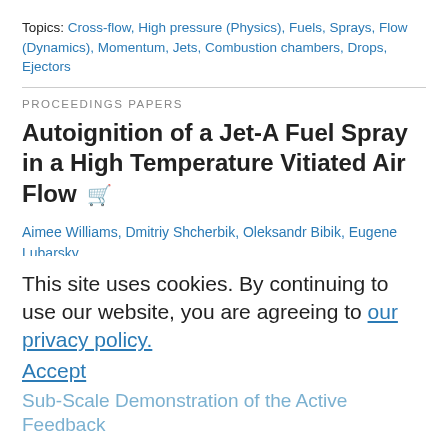Topics: Cross-flow, High pressure (Physics), Fuels, Sprays, Flow (Dynamics), Momentum, Jets, Combustion chambers, Drops, Ejectors
PROCEEDINGS PAPERS
Autoignition of a Jet-A Fuel Spray in a High Temperature Vitiated Air Flow
Aimee Williams, Dmitriy Shcherbik, Oleksandr Bibik, Eugene Lubarsky, Ben T. Zinn
Proc. ASME. GT2015, Volume 4A: Combustion, Fuels and Emissions, V04AT04A021, June 15–19, 2015
Paper No: GT2015-42199
DOI: https://doi.org/10.1115/GT2015-42199
Abstract  View Paper  PDF
Topics: Air flow, Fuels, High temperature, Sprays, Drops, Ejectors, Ignition, Temperature, Convection, Delays
This site uses cookies. By continuing to use our website, you are agreeing to our privacy policy. Accept
Sub-Scale Demonstration of the Active Feedback...